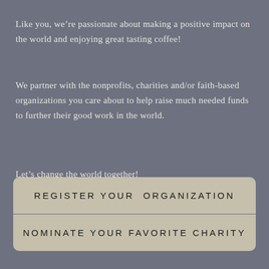Like you, we're passionate about making a positive impact on the world and enjoying great tasting coffee!
We partner with the nonprofits, charities and/or faith-based organizations you care about to help raise much needed funds to further their good work in the world.
Let's change the world together!
REGISTER YOUR  ORGANIZATION
NOMINATE YOUR FAVORITE CHARITY